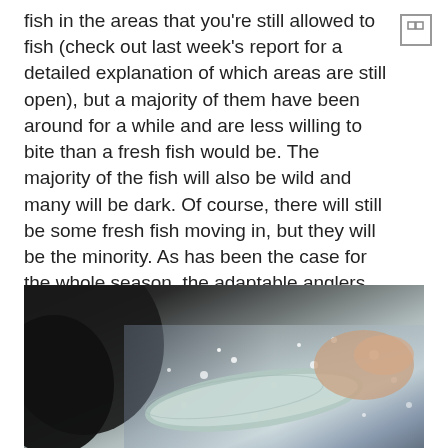fish in the areas that you're still allowed to fish (check out last week's report for a detailed explanation of which areas are still open), but a majority of them have been around for a while and are less willing to bite than a fresh fish would be. The majority of the fish will also be wild and many will be dark. Of course, there will still be some fresh fish moving in, but they will be the minority. As has been the case for the whole season, the adaptable anglers who are willing to think outside the box and change the way they fish are outfishing those who are still treating the river like they did last year.
[Figure (photo): A person's hands holding a fish near water, outdoors scene with sparkling water in the background.]